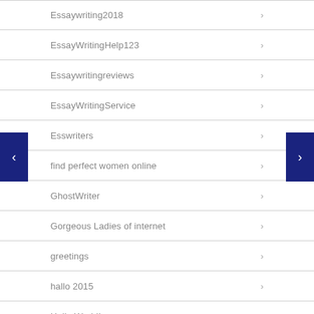Essaywriting2018
EssayWritingHelp123
Essaywritingreviews
EssayWritingService
Esswriters
find perfect women online
GhostWriter
Gorgeous Ladies of internet
greetings
hallo 2015
Hello World!